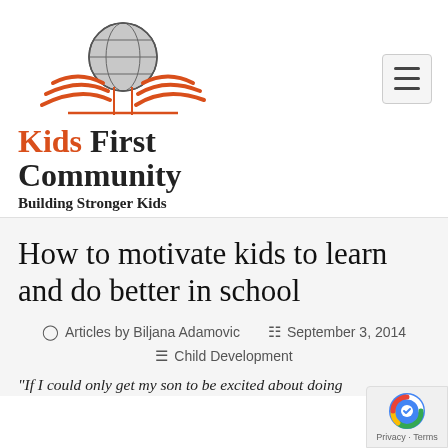[Figure (logo): Kids First Community logo with globe and book pages icon, orange wave lines, text 'Kids First Community' and tagline 'Building Stronger Kids']
How to motivate kids to learn and do better in school
Articles by Biljana Adamovic   September 3, 2014
Child Development
"If I could only get my son to be excited about doing